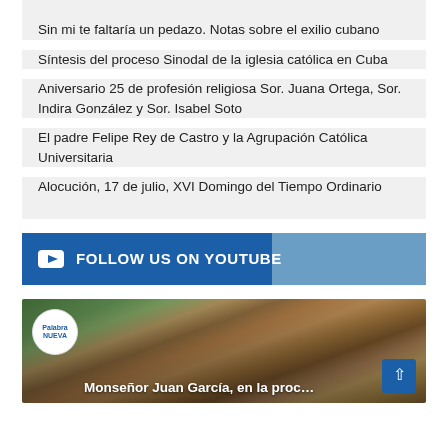Sin mi te faltaría un pedazo. Notas sobre el exilio cubano
Síntesis del proceso Sinodal de la iglesia católica en Cuba
Aniversario 25 de profesión religiosa Sor. Juana Ortega, Sor. Indira González y Sor. Isabel Soto
El padre Felipe Rey de Castro y la Agrupación Católica Universitaria
Alocución, 17 de julio, XVI Domingo del Tiempo Ordinario
[Figure (infographic): FOLLOW US ON YOUTUBE banner with YouTube play icon, dark blue background with lighter blue section on the right]
[Figure (screenshot): Video thumbnail showing a crowd scene with Monseñor Juan García, with Palabra Nueva channel logo and scroll-to-top button]